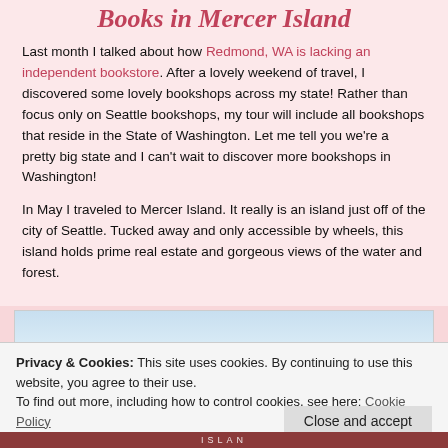Books in Mercer Island
Last month I talked about how Redmond, WA is lacking an independent bookstore. After a lovely weekend of travel, I discovered some lovely bookshops across my state! Rather than focus only on Seattle bookshops, my tour will include all bookshops that reside in the State of Washington. Let me tell you we’re a pretty big state and I can’t wait to discover more bookshops in Washington!
In May I traveled to Mercer Island. It really is an island just off of the city of Seattle. Tucked away and only accessible by wheels, this island holds prime real estate and gorgeous views of the water and forest.
[Figure (photo): Sky and water landscape photo placeholder, light blue gradient]
Privacy & Cookies: This site uses cookies. By continuing to use this website, you agree to their use.
To find out more, including how to control cookies, see here: Cookie Policy
Close and accept
[Figure (photo): Bottom partial photo showing dark red/brown banner with ISLAND text]